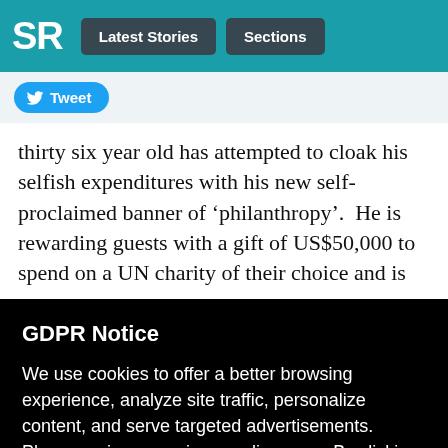SR | Latest Stories | Sections
Tweet
thirty six year old has attempted to cloak his selfish expenditures with his new self-proclaimed banner of ‘philanthropy’.  He is rewarding guests with a gift of US$50,000 to spend on a UN charity of their choice and is
GDPR Notice
We use cookies to offer a better browsing experience, analyze site traffic, personalize content, and serve targeted advertisements. Please review our privacy policy page. By clicking accept, you consent to our privacy policy & use of cookies.
Preferences
Confirm all